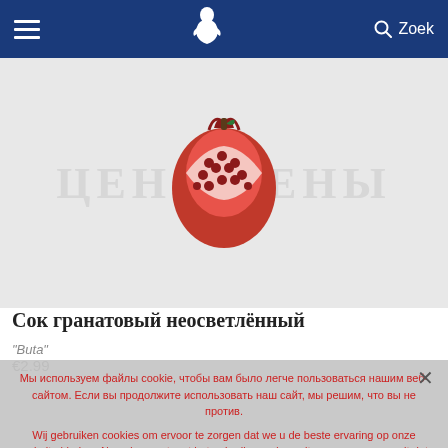≡  [logo]  🔍 Zoek
[Figure (photo): Product page showing a pomegranate cut open revealing seeds, on a white/grey background with faded text watermark]
Сок гранатовый неосветлённый
"Buta"
€2.99
Мы используем файлы cookie, чтобы вам было легче пользоваться нашим веб-сайтом. Если вы продолжите использовать наш сайт, мы решим, что вы не против.
Wij gebruiken cookies om ervoor te zorgen dat we u de beste ervaring op onze website bieden. Als u doorgaat met het gebruik van deze site, gaan we ervan uit dat u hiermee tevreden bent.
OK
MEER